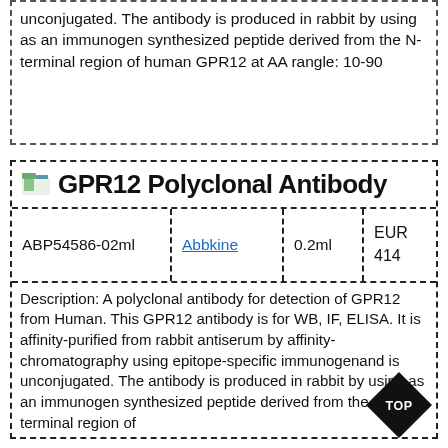unconjugated. The antibody is produced in rabbit by using as an immunogen synthesized peptide derived from the N-terminal region of human GPR12 at AA rangle: 10-90
GPR12 Polyclonal Antibody
|  |  |  |  |
| --- | --- | --- | --- |
| ABP54586-02ml | Abbkine | 0.2ml | EUR 414 |
Description: A polyclonal antibody for detection of GPR12 from Human. This GPR12 antibody is for WB, IF, ELISA. It is affinity-purified from rabbit antiserum by affinity-chromatography using epitope-specific immunogenand is unconjugated. The antibody is produced in rabbit by using as an immunogen synthesized peptide derived from the N-terminal region of